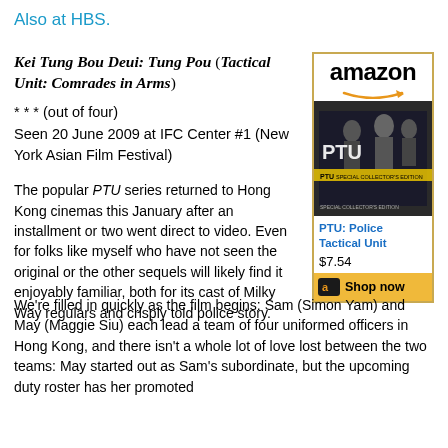Also at HBS.
Kei Tung Bou Deui: Tung Pou (Tactical Unit: Comrades in Arms)
* * * (out of four)
Seen 20 June 2009 at IFC Center #1 (New York Asian Film Festival)
[Figure (other): Amazon advertisement widget for PTU: Police Tactical Unit DVD, showing amazon logo, DVD cover image, title link, price $7.54, and Shop now button]
The popular PTU series returned to Hong Kong cinemas this January after an installment or two went direct to video. Even for folks like myself who have not seen the original or the other sequels will likely find it enjoyably familiar, both for its cast of Milky Way regulars and crisply told police story.
We're filled in quickly as the film begins: Sam (Simon Yam) and May (Maggie Siu) each lead a team of four uniformed officers in Hong Kong, and there isn't a whole lot of love lost between the two teams: May started out as Sam's subordinate, but the upcoming duty roster has her promoted